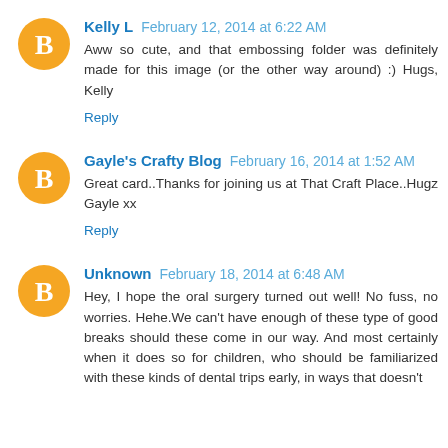Kelly L  February 12, 2014 at 6:22 AM
Aww so cute, and that embossing folder was definitely made for this image (or the other way around) :) Hugs, Kelly
Reply
Gayle's Crafty Blog  February 16, 2014 at 1:52 AM
Great card..Thanks for joining us at That Craft Place..Hugz Gayle xx
Reply
Unknown  February 18, 2014 at 6:48 AM
Hey, I hope the oral surgery turned out well! No fuss, no worries. Hehe.We can't have enough of these type of good breaks should these come in our way. And most certainly when it does so for children, who should be familiarized with these kinds of dental trips early, in ways that doesn't